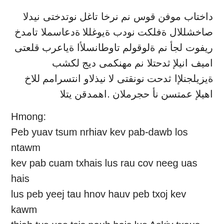داختاب موفن قوس نم نرخا تاغل نوتدختی نیدلا صاخشللال ةفلكت نودب ةيوغللا ةدعاسملا تامدخ ريفوت لجأ نم ةلوقولم تاوطانسلأا ةياعرب قلعتی اميف انيلإ ثدحتلا نم مهنكمی ديج لكشب ةيزيلجنلإا ثدحت نونقتی لا نيذلاو انتسرامم للاخ اهيلإ عمتسن نأ حجرملان .اهمدقن يتلا
Hmong:
Peb yuav tsum nrhiav kev pab-dawb los ntawm kev pab cuam txhais lus rau cov neeg uas hais lus peb yeej tau hnov hauv peb txoj kev kawm thiab tus uas tsis paub hais lus Askiv txaus los tham rau peb txog cov kev pab kho hniav peb muaj.
Russian:
Мы принимаем необходимые меры, чтобы